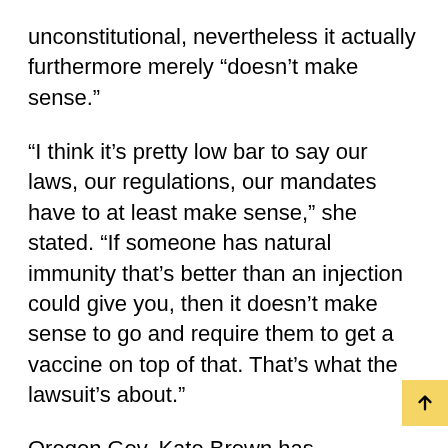unconstitutional, nevertheless it actually furthermore merely “doesn’t make sense.”
“I think it’s pretty low bar to say our laws, our regulations, our mandates have to at least make sense,” she stated. “If someone has natural immunity that’s better than an injection could give you, then it doesn’t make sense to go and require them to get a vaccine on top of that. That’s what the lawsuit’s about.”
Oregon Gov. Kate Brown has nevertheless to attain out to Williams personally on the matter, regardless that the fireman has served the parents of Oregon for practically thirty years. Williams’ message to the governor is to “let